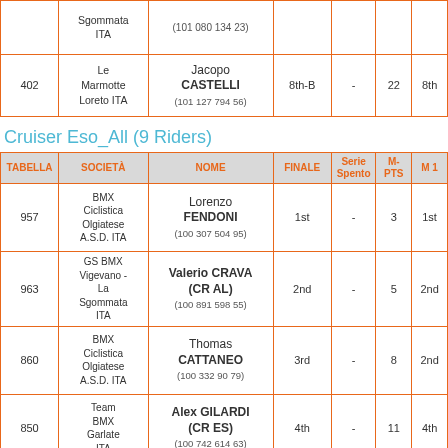| TABELLA | SOCIETÀ | NOME | FINALE | Serie Spento | M-PTS | M 1 |
| --- | --- | --- | --- | --- | --- | --- |
| 402 | Le Marmotte Loreto ITA | Jacopo CASTELLI
(101 127 794 56) | 8th-B | - | 22 | 8th |
Cruiser Eso_All (9 Riders)
| TABELLA | SOCIETÀ | NOME | FINALE | Serie Spento | M-PTS | M 1 |
| --- | --- | --- | --- | --- | --- | --- |
| 957 | BMX Ciclistica Olgiatese A.S.D. ITA | Lorenzo FENDONI
(100 307 504 95) | 1st | - | 3 | 1st |
| 963 | GS BMX Vigevano - La Sgommata ITA | Valerio CRAVA (CR AL)
(100 891 598 55) | 2nd | - | 5 | 2nd |
| 860 | BMX Ciclistica Olgiatese A.S.D. ITA | Thomas CATTANEO
(100 332 90 79) | 3rd | - | 8 | 2nd |
| 850 | Team BMX Garlate ITA | Alex GILARDI (CR ES)
(100 742 614 63) | 4th | - | 11 | 4th |